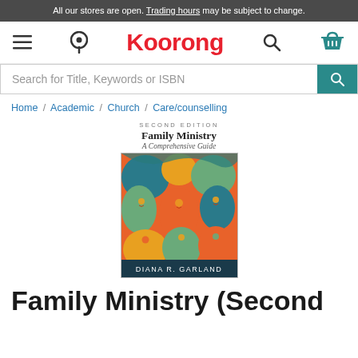All our stores are open. Trading hours may be subject to change.
[Figure (screenshot): Koorong website navigation bar with hamburger menu, location pin, Koorong logo in red, search icon, and shopping basket icon in teal]
[Figure (screenshot): Search bar with placeholder text 'Search for Title, Keywords or ISBN' and a teal search button]
Home / Academic / Church / Care/counselling
[Figure (illustration): Book cover of 'Family Ministry: A Comprehensive Guide' Second Edition by Diana R. Garland, featuring colorful illustrated figures of people in orange, teal, yellow and green on orange background]
Family Ministry (Second